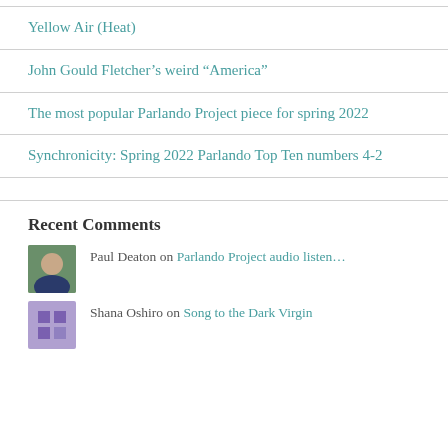Yellow Air (Heat)
John Gould Fletcher's weird “America”
The most popular Parlando Project piece for spring 2022
Synchronicity: Spring 2022 Parlando Top Ten numbers 4-2
Recent Comments
Paul Deaton on Parlando Project audio listen…
Shana Oshiro on Song to the Dark Virgin